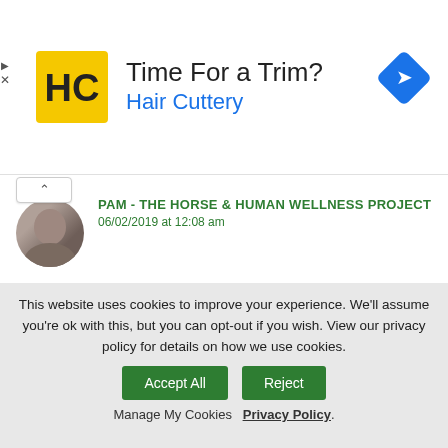[Figure (illustration): Advertisement banner for Hair Cuttery with logo, 'Time For a Trim?' headline, and navigation icon]
PAM - THE HORSE & HUMAN WELLNESS PROJECT
06/02/2019 at 12:08 am

Great post! My connemara needs a half pad. It was next to impossible to find a saddle that fit her well but finally we did – it just needs a tiny bit of lift up off her shoulders, which her half pad gives me. xx
This website uses cookies to improve your experience. We'll assume you're ok with this, but you can opt-out if you wish. View our privacy policy for details on how we use cookies. Accept All | Reject
Manage My Cookies  Privacy Policy